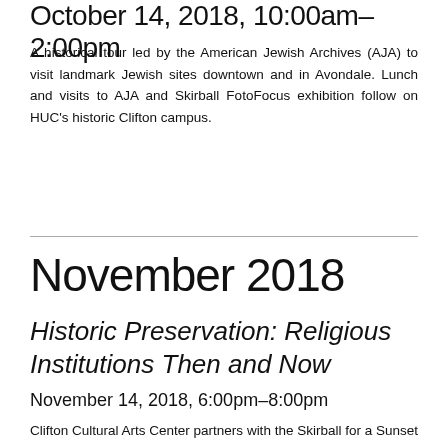October 14, 2018, 10:00am–2:00pm
A historical tour led by the American Jewish Archives (AJA) to visit landmark Jewish sites downtown and in Avondale. Lunch and visits to AJA and Skirball FotoFocus exhibition follow on HUC's historic Clifton campus.
November 2018
Historic Preservation: Religious Institutions Then and Now
November 14, 2018, 6:00pm–8:00pm
Clifton Cultural Arts Center partners with the Skirball for a Sunset Salon featuring a panel